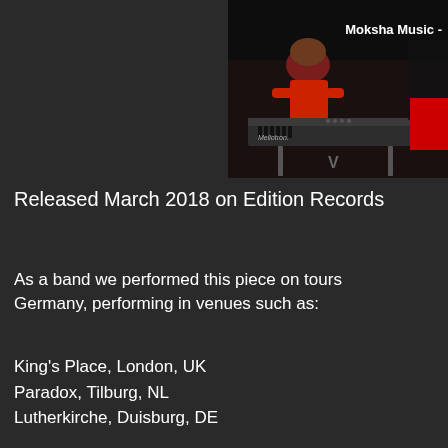[Figure (photo): A musician in a red top playing a Mellotron keyboard on stage in a dark setting. Text overlay reads 'Moksha Music -'. A red block element is partially visible at the right edge.]
Released March 2018 on Edition Records
As a band we performed this piece on tours Germany, performing in venues such as:
King's Place, London, UK
Paradox, Tilburg, NL
Lutherkirche, Duisburg, DE